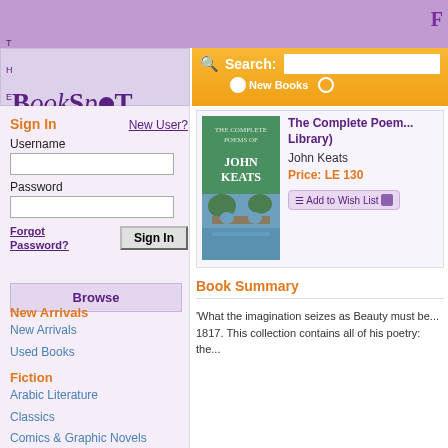[Figure (logo): TheBookSpot logo with purple text and filled circle O]
Sign In   New User?
Username
Password
Forgot Password?
Sign In
Browse
New Arrivals
New Arrivals
Used Books
Fiction
Arabic Literature
Classics
Comics & Graphic Novels
Search:
New Books
The Complete Poem... Library)
John Keats
Price: LE 130
Add to Wish List
Book Summary
'What the imagination seizes as Beauty must be... 1817. This collection contains all of his poetry: the...